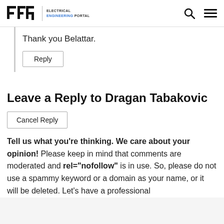EEP | ELECTRICAL ENGINEERING PORTAL
Thank you Belattar.
Reply
Leave a Reply to Dragan Tabakovic
Cancel Reply
Tell us what you're thinking. We care about your opinion! Please keep in mind that comments are moderated and rel="nofollow" is in use. So, please do not use a spammy keyword or a domain as your name, or it will be deleted. Let's have a professional